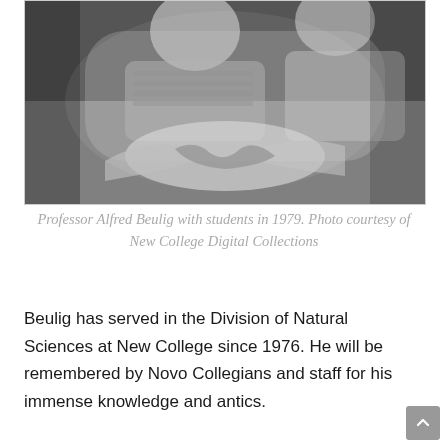[Figure (photo): Black and white photograph of Professor Alfred Beulig with students in 1979, showing people working with their hands on something on a table.]
Professor Alfred Beulig with students in 1979. Photo courtesy of New College Digital Collections
Beulig has served in the Division of Natural Sciences at New College since 1976. He will be remembered by Novo Collegians and staff for his immense knowledge and antics.